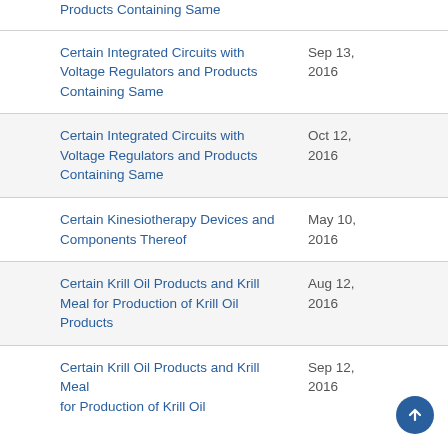Products Containing Same	Sep 13, 2016
Certain Integrated Circuits with Voltage Regulators and Products Containing Same	Sep 13, 2016
Certain Integrated Circuits with Voltage Regulators and Products Containing Same	Oct 12, 2016
Certain Kinesiotherapy Devices and Components Thereof	May 10, 2016
Certain Krill Oil Products and Krill Meal for Production of Krill Oil Products	Aug 12, 2016
Certain Krill Oil Products and Krill Meal for Production of Krill Oil	Sep 12, 2016